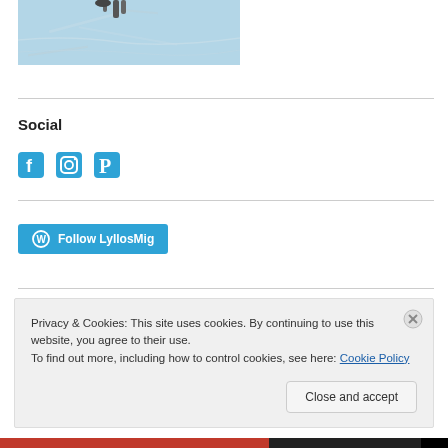[Figure (photo): Partial photo of a snowy/icy outdoor scene with tracks, viewed from above. Only the bottom portion of the image is visible.]
Social
[Figure (infographic): Three social media icons: Facebook, Instagram, Pinterest — all in teal/blue color]
Follow LyllosMig
Privacy & Cookies: This site uses cookies. By continuing to use this website, you agree to their use.
To find out more, including how to control cookies, see here: Cookie Policy
Close and accept